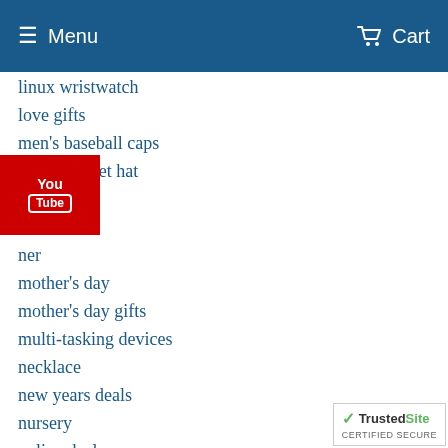Menu  Cart
linux wristwatch
love gifts
men's baseball caps
men's bucket hat
men's gifts
mother's day
mother's day gifts
multi-tasking devices
necklace
new years deals
nursery
online deals
online shopping
party gifts
[Figure (logo): YouTube logo overlay in red box]
[Figure (logo): TrustedSite Certified Secure badge]